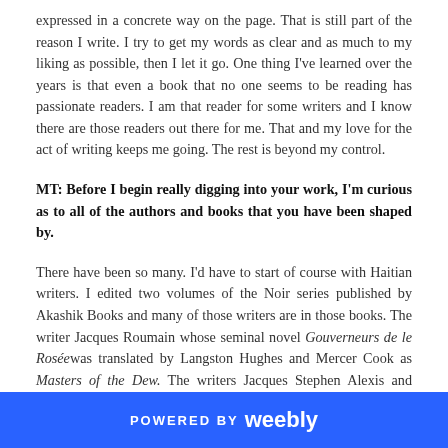expressed in a concrete way on the page. That is still part of the reason I write. I try to get my words as clear and as much to my liking as possible, then I let it go. One thing I've learned over the years is that even a book that no one seems to be reading has passionate readers. I am that reader for some writers and I know there are those readers out there for me. That and my love for the act of writing keeps me going. The rest is beyond my control.
MT: Before I begin really digging into your work, I'm curious as to all of the authors and books that you have been shaped by.
There have been so many. I'd have to start of course with Haitian writers. I edited two volumes of the Noir series published by Akashik Books and many of those writers are in those books. The writer Jacques Roumain whose seminal novel Gouverneurs de le Roséewas translated by Langston Hughes and Mercer Cook as Masters of the Dew. The writers Jacques Stephen Alexis and Marie Vieux Chauvet, J.J Dominique, and Ida Faubert, among others. I write about them and some of my other influences in my
POWERED BY weebly